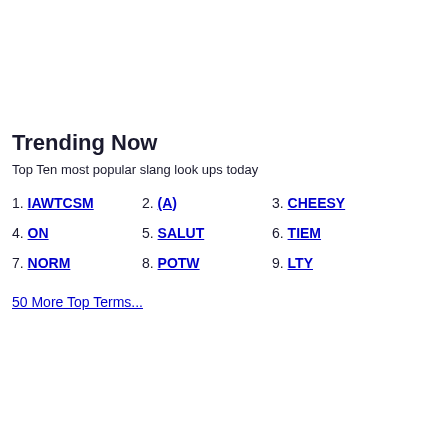Trending Now
Top Ten most popular slang look ups today
1. IAWTCSM
2. (A)
3. CHEESY
4. ON
5. SALUT
6. TIEM
7. NORM
8. POTW
9. LTY
50 More Top Terms...